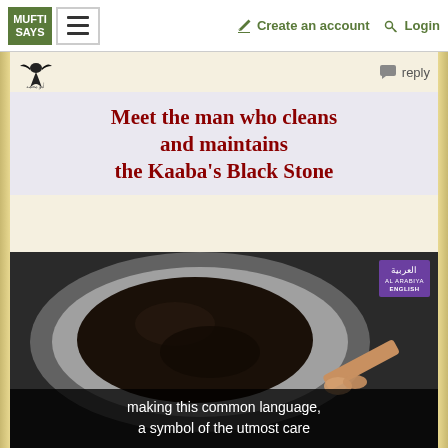MUFTI SAYS | Create an account | Login
[Figure (screenshot): User avatar icon (bird/eagle silhouette with Arabic text)]
reply
Meet the man who cleans and maintains the Kaaba's Black Stone
[Figure (photo): Video thumbnail showing a top-down view of the Kaaba's Black Stone being cleaned/maintained, with a hand holding a stick/tool. An Al Arabiya English badge is visible in the top right corner. Subtitle text reads: making this common language, a symbol of the utmost care]
making this common language, a symbol of the utmost care